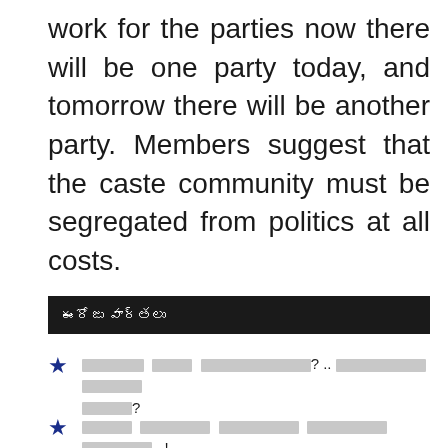work for the parties now there will be one party today, and tomorrow there will be another party. Members suggest that the caste community must be segregated from politics at all costs.
ఈరోజు వార్తలు
[Telugu text] ?
[Telugu text]...!